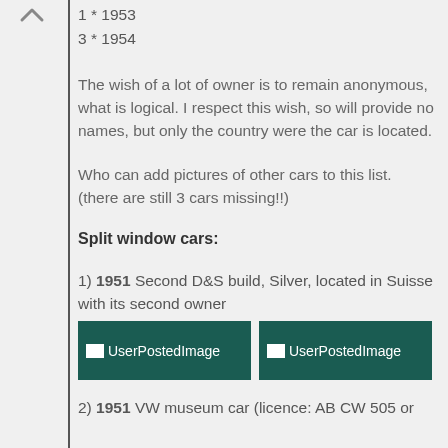1 * 1953
3 * 1954
The wish of a lot of owner is to remain anonymous, what is logical. I respect this wish, so will provide no names, but only the country were the car is located.
Who can add pictures of other cars to this list. (there are still 3 cars missing!!)
Split window cars:
1) 1951 Second D&S build, Silver, located in Suisse with its second owner
[Figure (photo): Two user posted images side by side, shown as dark teal placeholder boxes labeled UserPostedImage]
2) 1951 VW museum car (licence: AB CW 505 or